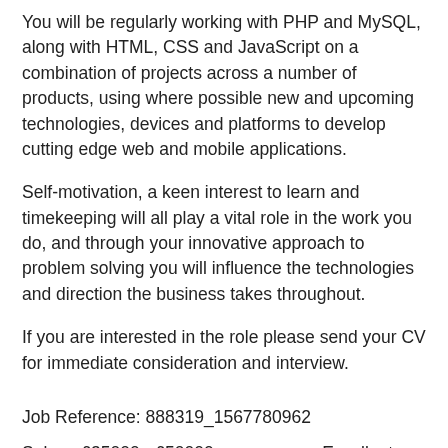You will be regularly working with PHP and MySQL, along with HTML, CSS and JavaScript on a combination of projects across a number of products, using where possible new and upcoming technologies, devices and platforms to develop cutting edge web and mobile applications.
Self-motivation, a keen interest to learn and timekeeping will all play a vital role in the work you do, and through your innovative approach to problem solving you will influence the technologies and direction the business takes throughout.
If you are interested in the role please send your CV for immediate consideration and interview.
Job Reference: 888319_1567780962
Salary: £35000 - £50000 per annum + Excellent Benefits